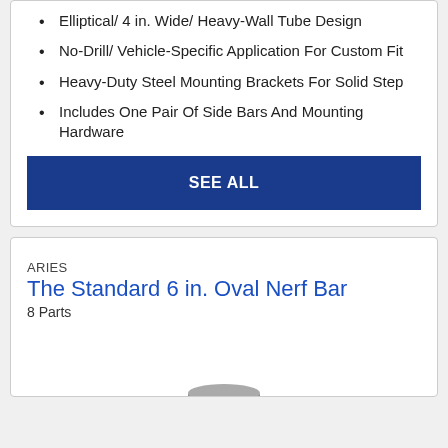Elliptical/ 4 in. Wide/ Heavy-Wall Tube Design
No-Drill/ Vehicle-Specific Application For Custom Fit
Heavy-Duty Steel Mounting Brackets For Solid Step
Includes One Pair Of Side Bars And Mounting Hardware
SEE ALL
ARIES
The Standard 6 in. Oval Nerf Bar
8 Parts
[Figure (photo): Product image of the Standard 6 in. Oval Nerf Bar, partially visible at bottom of card]